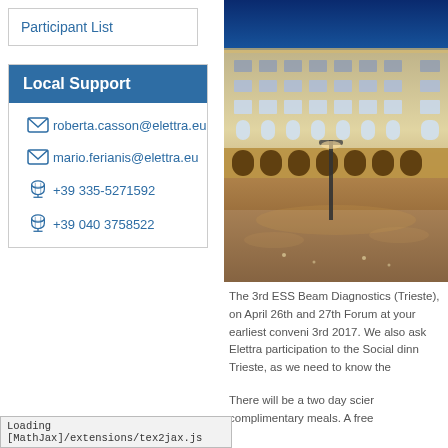Participant List
Local Support
roberta.casson@elettra.eu
mario.ferianis@elettra.eu
+39 335-5271592
+39 040 3758522
[Figure (photo): Night photo of a grand European building, likely Piazza Unità d'Italia in Trieste, illuminated with warm lights against a blue evening sky.]
The 3rd ESS Beam Diagnostics (Trieste), on April 26th and 27th Forum at your earliest conveni 3rd 2017. We also ask Elettra participation to the Social dinn Trieste, as we need to know the
There will be a two day scien complimentary meals. A free
Loading [MathJax]/extensions/tex2jax.js